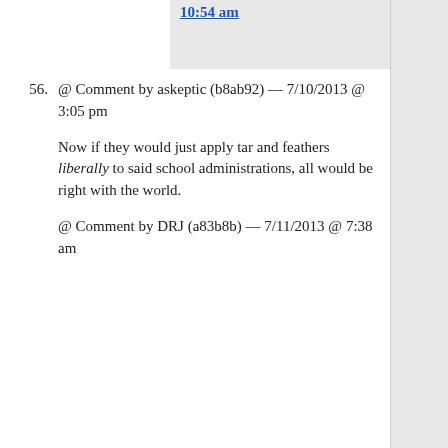10:54 am
56. @ Comment by askeptic (b8ab92) — 7/10/2013 @ 3:05 pm

Now if they would just apply tar and feathers liberally to said school administrations, all would be right with the world.

@ Comment by DRJ (a83b8b) — 7/11/2013 @ 7:38 am